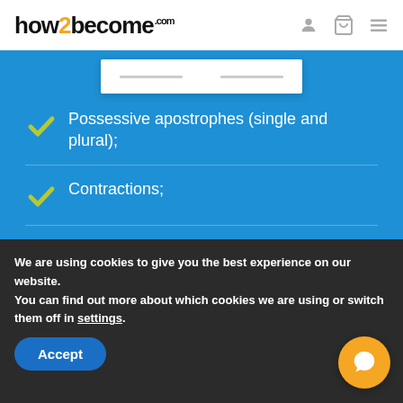how2become.com
[Figure (screenshot): Partial book cover visible at top of blue panel]
Possessive apostrophes (single and plural);
Contractions;
Apostrophes and Time;
When NOT To Use Apostrophes;
We are using cookies to give you the best experience on our website.
You can find out more about which cookies we are using or switch them off in settings.
Accept